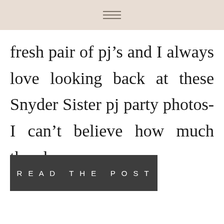fresh pair of pj’s and I always love looking back at these Snyder Sister pj party photos- I can’t believe how much they have
READ THE POST